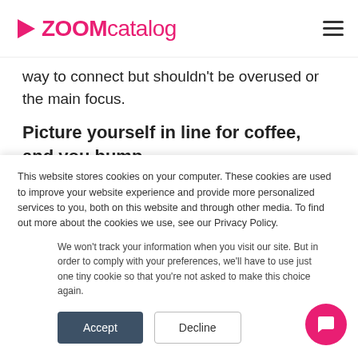ZOOMcatalog
way to connect but shouldn't be overused or the main focus.
Picture yourself in line for coffee, and you bump
This website stores cookies on your computer. These cookies are used to improve your website experience and provide more personalized services to you, both on this website and through other media. To find out more about the cookies we use, see our Privacy Policy.
We won't track your information when you visit our site. But in order to comply with your preferences, we'll have to use just one tiny cookie so that you're not asked to make this choice again.